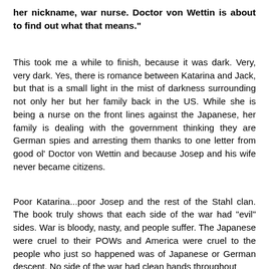her nickname, war nurse. Doctor von Wettin is about to find out what that means."
This took me a while to finish, because it was dark. Very, very dark. Yes, there is romance between Katarina and Jack, but that is a small light in the mist of darkness surrounding not only her but her family back in the US. While she is being a nurse on the front lines against the Japanese, her family is dealing with the government thinking they are German spies and arresting them thanks to one letter from good ol' Doctor von Wettin and because Josep and his wife never became citizens.
Poor Katarina...poor Josep and the rest of the Stahl clan. The book truly shows that each side of the war had "evil" sides. War is bloody, nasty, and people suffer. The Japanese were cruel to their POWs and America were cruel to the people who just so happened was of Japanese or German descent. No side of the war had clean hands throughout